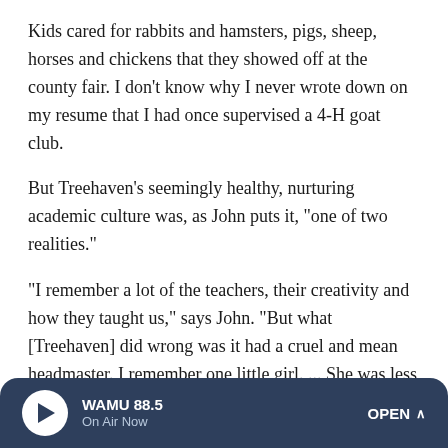Kids cared for rabbits and hamsters, pigs, sheep, horses and chickens that they showed off at the county fair. I don't know why I never wrote down on my resume that I had once supervised a 4-H goat club.
But Treehaven's seemingly healthy, nurturing academic culture was, as John puts it, "one of two realities."
"I remember a lot of the teachers, their creativity and how they taught us," says John. "But what [Treehaven] did wrong was it had a cruel and mean headmaster. I remember one little girl. ... She was less than 5, I think."
John is referring to Candy, the youngest child at Treehaven at the time.
WAMU 88.5 | On Air Now | OPEN